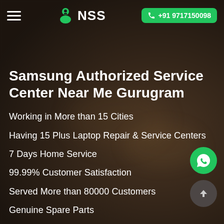NSS | +91 9717150098
Samsung Authorized Service Center Near Me Gurugram
Working in More than 15 Cities
Having 15 Plus Laptop Repair & Service Centers
7 Days Home Service
99.99% Customer Satisfaction
Served More than 80000 Customers
Genuine Spare Parts